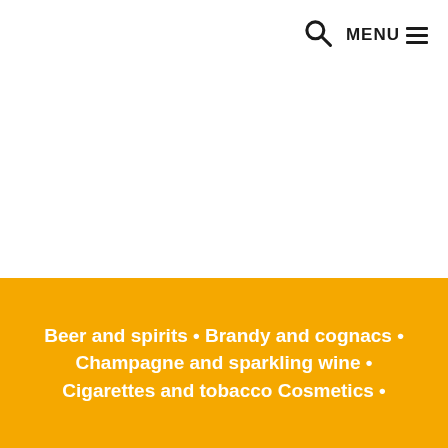MENU
Beer and spirits • Brandy and cognacs • Champagne and sparkling wine • Cigarettes and tobacco Cosmetics •